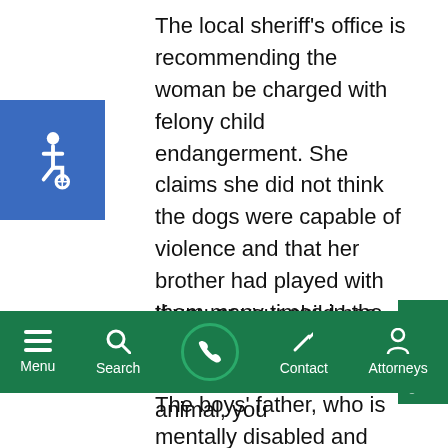The local sheriff's office is recommending the woman be charged with felony child endangerment. She claims she did not think the dogs were capable of violence and that her brother had played with them many times in the past without incident.
[Figure (illustration): Blue square with white wheelchair accessibility icon]
The boys' father, who is mentally disabled and claims he was not able to care for the boy, is pursuing a lawsuit again Sacramento County Child Protective Services (CPS). He alleges CPS should have known the boy was at risk of great harm when visiting his older sister. Read more in this The Sacramento
[Figure (other): Green vertical Contact Us tab on the right side]
Menu | Search | (phone) | Contact | Attorneys
If you or your child has been the victim of a dog bite or an attack by any animal, you